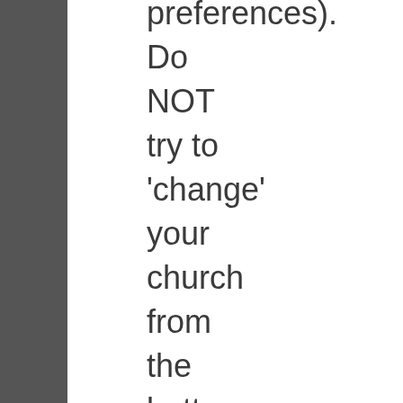preferences). Do NOT try to 'change' your church from the bottom up (i.e. a Sunday school class, discussions with other congregants designed to prod